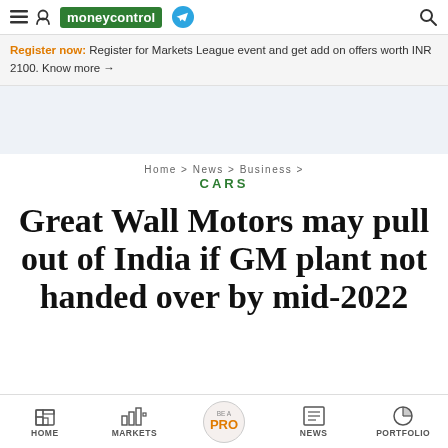moneycontrol
Register now: Register for Markets League event and get add on offers worth INR 2100. Know more →
[Figure (other): Advertisement/banner placeholder area with light blue-grey background]
Home > News > Business > CARS
Great Wall Motors may pull out of India if GM plant not handed over by mid-2022
HOME   MARKETS   BE A PRO   NEWS   PORTFOLIO